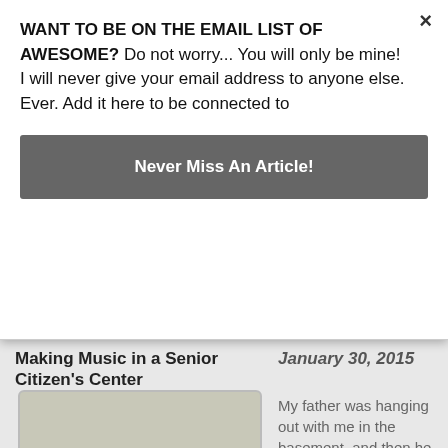WANT TO BE ON THE EMAIL LIST OF AWESOME? Do not worry... You will only be mine! I will never give your email address to anyone else. Ever. Add it here to be connected to
Never Miss An Article!
×
Making Music in a Senior Citizen's Center
[Figure (photo): People sitting around tables in what appears to be a senior citizen center cafeteria or meeting room, with overhead fluorescent lighting.]
January 30, 2015
My father was hanging out with me in the basement, and then he began getting his band equipment together to haul upstairs to load